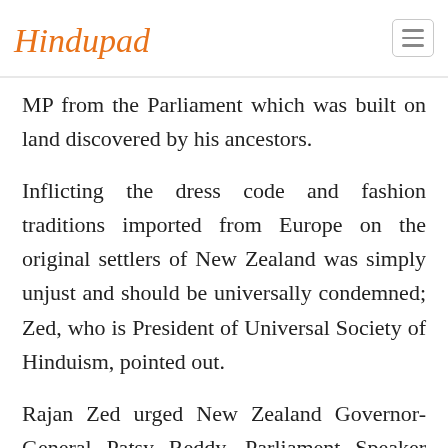Hindupad
MP from the Parliament which was built on land discovered by his ancestors.
Inflicting the dress code and fashion traditions imported from Europe on the original settlers of New Zealand was simply unjust and should be universally condemned; Zed, who is President of Universal Society of Hinduism, pointed out.
Rajan Zed urged New Zealand Governor-General Patsy Reddy, Parliament Speaker Trevor Mallard, Prime Minister Jacinda Ardern, Deputy Prime Minister Grant